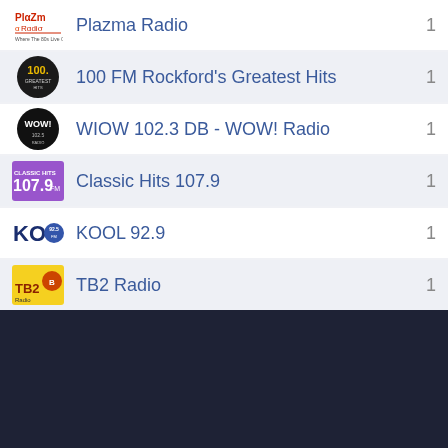Plazma Radio — 1
100 FM Rockford's Greatest Hits — 1
WIOW 102.3 DB - WOW! Radio — 1
Classic Hits 107.9 — 1
KOOL 92.9 — 1
TB2 Radio — 1
.977 Today's Hits
[Figure (screenshot): Media player bottom bar with now-playing (.977 Today's Hits with hitsradio logo) and playback controls (heart, skip back, play, skip forward, volume)]